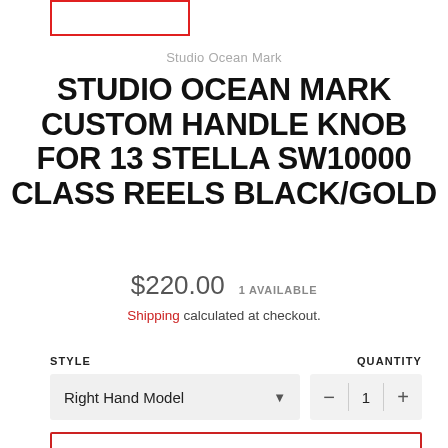[Figure (other): Red-outlined rectangle box at top left, partially cropped]
Studio Ocean Mark
STUDIO OCEAN MARK CUSTOM HANDLE KNOB FOR 13 STELLA SW10000 CLASS REELS BLACK/GOLD
$220.00   1 AVAILABLE
Shipping calculated at checkout.
STYLE
QUANTITY
Right Hand Model
1
ADD TO CART